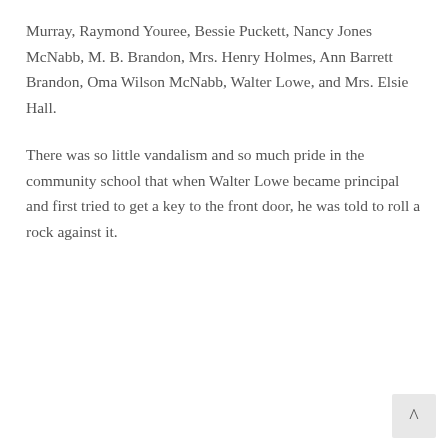Murray, Raymond Youree, Bessie Puckett, Nancy Jones McNabb, M. B. Brandon, Mrs. Henry Holmes, Ann Barrett Brandon, Oma Wilson McNabb, Walter Lowe, and Mrs. Elsie Hall.
There was so little vandalism and so much pride in the community school that when Walter Lowe became principal and first tried to get a key to the front door, he was told to roll a rock against it.